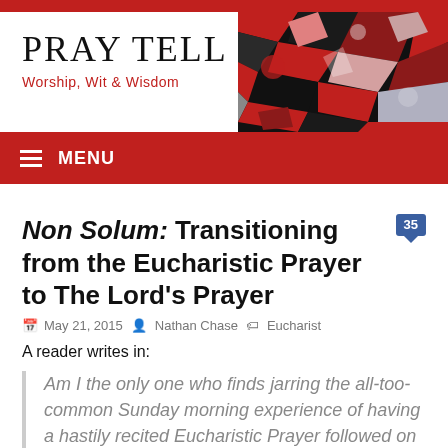PRAY TELL
Worship, Wit & Wisdom
[Figure (photo): Stained glass artwork with red, black, and colorful geometric shapes]
MENU
Non Solum: Transitioning from the Eucharistic Prayer to The Lord's Prayer [35 comments]
May 21, 2015 | Nathan Chase | Eucharist
A reader writes in:
Am I the only one who finds jarring the all-too-common Sunday morning experience of having a hastily recited Eucharistic Prayer followed on invitation to sing The Lord's Prayer...